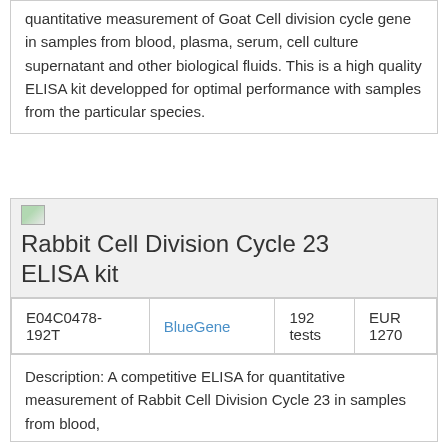quantitative measurement of Goat Cell division cycle gene in samples from blood, plasma, serum, cell culture supernatant and other biological fluids. This is a high quality ELISA kit developped for optimal performance with samples from the particular species.
[Figure (photo): Small broken image placeholder icon]
Rabbit Cell Division Cycle 23 ELISA kit
| E04C0478-192T | BlueGene | 192 tests | EUR 1270 |
Description: A competitive ELISA for quantitative measurement of Rabbit Cell Division Cycle 23 in samples from blood,